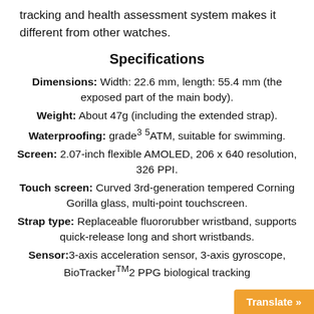tracking and health assessment system makes it different from other watches.
Specifications
Dimensions: Width: 22.6 mm, length: 55.4 mm (the exposed part of the main body).
Weight: About 47g (including the extended strap).
Waterproofing: grade3 5ATM, suitable for swimming.
Screen: 2.07-inch flexible AMOLED, 206 x 640 resolution, 326 PPI.
Touch screen: Curved 3rd-generation tempered Corning Gorilla glass, multi-point touchscreen.
Strap type: Replaceable fluororubber wristband, supports quick-release long and short wristbands.
Sensor: 3-axis acceleration sensor, 3-axis gyroscope, BioTrackerTM2 PPG biological tracking...